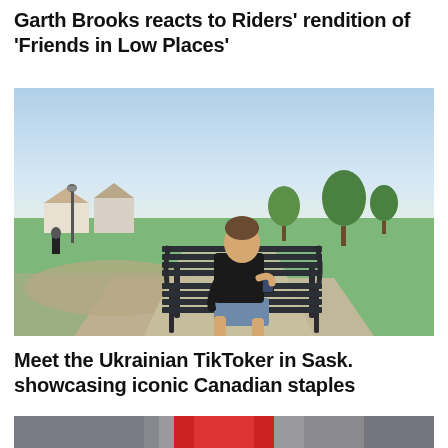Garth Brooks reacts to Riders' rendition of 'Friends in Low Places'
[Figure (photo): A young man in a black t-shirt and blue shorts sitting on a dark metal park bench, looking at his phone. Park setting with grass, trees, and a path in the background on a sunny day.]
Meet the Ukrainian TikToker in Sask. showcasing iconic Canadian staples
[Figure (photo): Partial view of what appears to be furniture or fabric items, showing grey and red objects, partially cropped at the bottom of the page.]